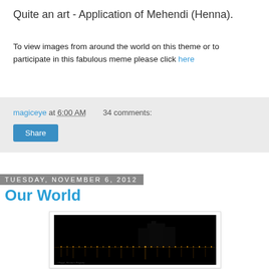Quite an art - Application of Mehendi (Henna).
To view images from around the world on this theme or to participate in this fabulous meme please click here
magiceye at 6:00 AM   34 comments:
Share
Tuesday, November 6, 2012
Our World
[Figure (photo): Night cityscape photo showing city lights reflected in water against a dark sky]